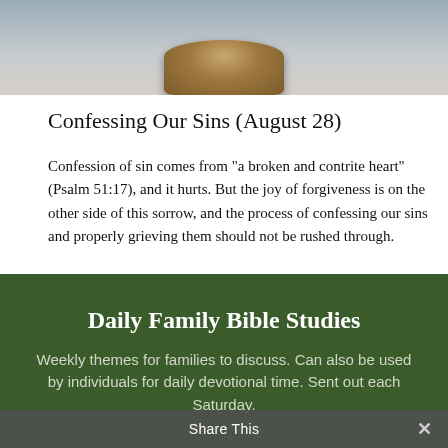[Figure (photo): Partial photo showing a tree stump and a blurred figure of a man in the background, cropped at top]
Confessing Our Sins (August 28)
Confession of sin comes from "a broken and contrite heart" (Psalm 51:17), and it hurts. But the joy of forgiveness is on the other side of this sorrow, and the process of confessing our sins and properly grieving them should not be rushed through.
READ MORE
Daily Family Bible Studies
Weekly themes for families to discuss. Can also be used by individuals for daily devotional time. Sent out each Saturday.
Share This